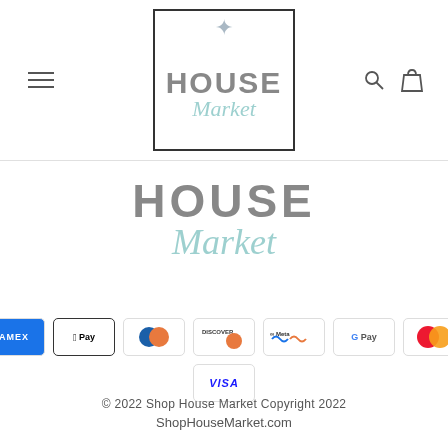[Figure (logo): House Market logo in a bordered square with star, HOUSE in gray bold and Market in cursive teal]
[Figure (logo): Large House Market logo below header: HOUSE in large gray bold uppercase, Market in large teal italic cursive]
[Figure (infographic): Payment method icons: American Express, Apple Pay, Diners Club, Discover, Meta Pay, Google Pay, Mastercard, Visa]
© 2022 Shop House Market Copyright 2022
ShopHouseMarket.com